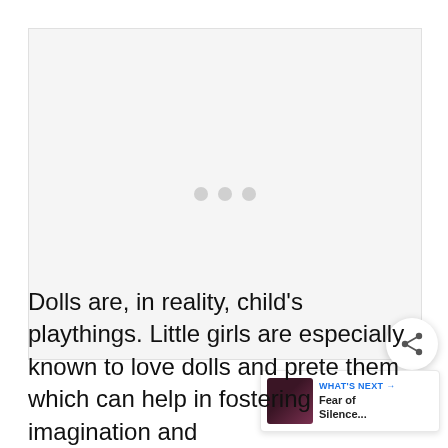[Figure (other): Advertisement placeholder with three loading dots centered in a light gray box]
Dolls are, in reality, child's playthings. Little girls are especially known to love dolls and prete them which can help in fostering imagination and creativity. Naturally, it is common for parents of